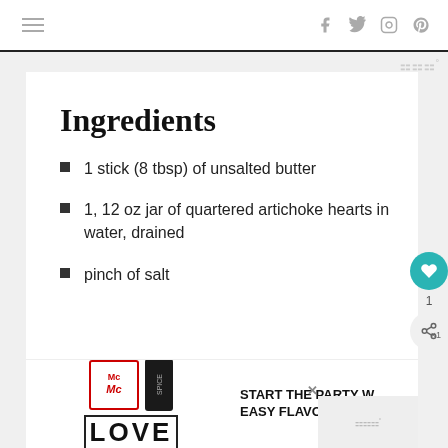≡  f  🐦  ○  ℗
Ingredients
1 stick (8 tbsp) of unsalted butter
1, 12 oz jar of quartered artichoke hearts in water, drained
pinch of salt
[Figure (photo): McCormick advertisement with spice jar and LOVE decorative text art, plus a small blog logo overlay]